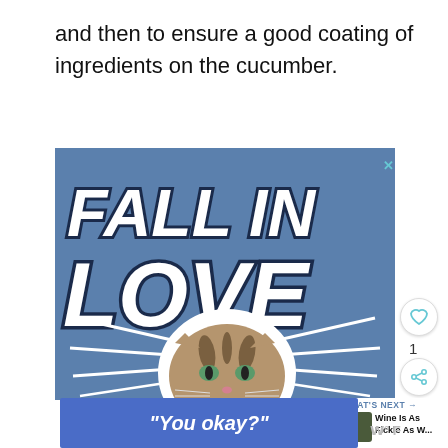and then to ensure a good coating of ingredients on the cucumber.
[Figure (screenshot): Advertisement banner with blue background showing 'FALL IN LOVE' text in bold italic white letters with dark outline, and a cat photo in the lower center with speed lines radiating outward. A close (X) button is in the top right corner.]
[Figure (infographic): Small 'What's Next' widget showing a thumbnail image and text 'Wine Is As Fickle As W...' with a teal arrow label]
[Figure (screenshot): Bottom ad bar with blue background showing italic text: "You okay?"]